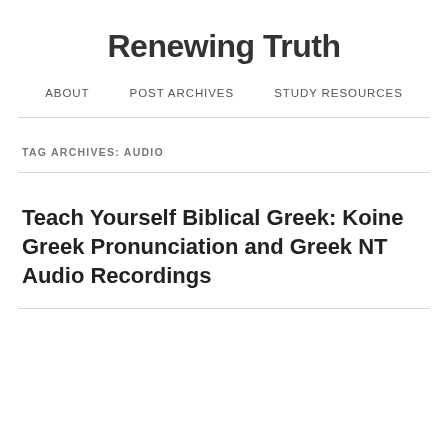Renewing Truth
ABOUT   POST ARCHIVES   STUDY RESOURCES
TAG ARCHIVES: AUDIO
Teach Yourself Biblical Greek: Koine Greek Pronunciation and Greek NT Audio Recordings